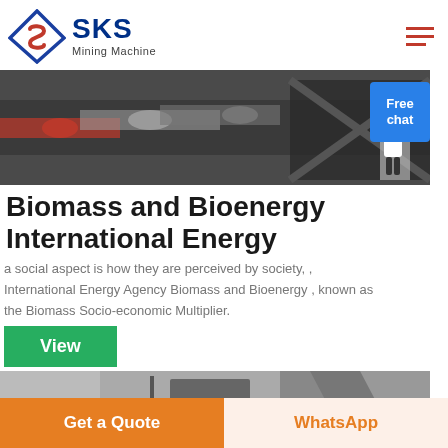SKS Mining Machine
[Figure (photo): Industrial machinery photo showing conveyor belts, rollers, and heavy equipment in a factory setting]
Biomass and Bioenergy International Energy
a social aspect is how they are perceived by society, , International Energy Agency Biomass and Bioenergy , known as the Biomass Socio-economic Multiplier.
View
[Figure (photo): Bottom strip image showing industrial equipment]
Get a Quote
WhatsApp